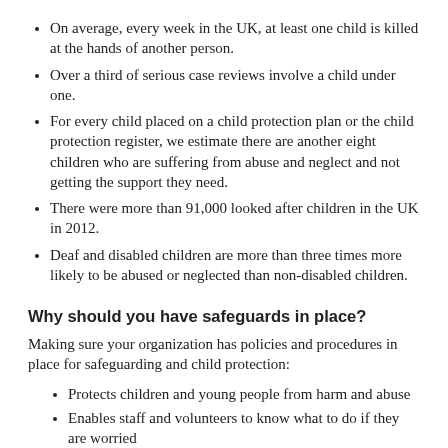On average, every week in the UK, at least one child is killed at the hands of another person.
Over a third of serious case reviews involve a child under one.
For every child placed on a child protection plan or the child protection register, we estimate there are another eight children who are suffering from abuse and neglect and not getting the support they need.
There were more than 91,000 looked after children in the UK in 2012.
Deaf and disabled children are more than three times more likely to be abused or neglected than non-disabled children.
Why should you have safeguards in place?
Making sure your organization has policies and procedures in place for safeguarding and child protection:
Protects children and young people from harm and abuse
Enables staff and volunteers to know what to do if they are worried
Shows that your group is responsible and has pride in